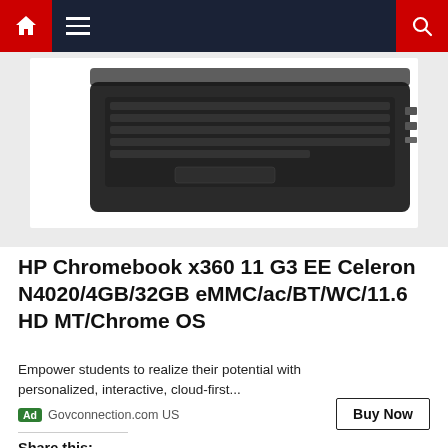Navigation bar with home, menu, and search icons
[Figure (photo): HP Chromebook x360 laptop partially visible from top-down angle showing keyboard and ports, on a light gray background]
HP Chromebook x360 11 G3 EE Celeron N4020/4GB/32GB eMMC/ac/BT/WC/11.6 HD MT/Chrome OS
Empower students to realize their potential with personalized, interactive, cloud-first...
Ad  Govconnection.com US
Share this: